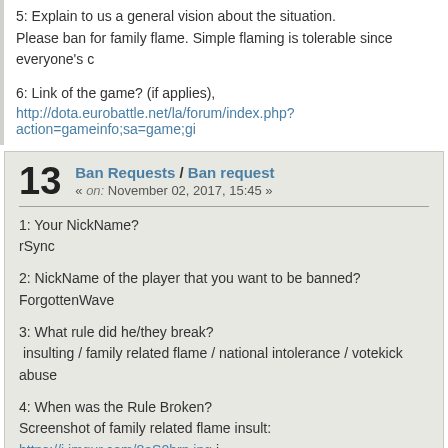5: Explain to us a general vision about the situation.
Please ban for family flame. Simple flaming is tolerable since everyone's c
6: Link of the game? (if applies),
http://dota.eurobattle.net/la/forum/index.php?action=gameinfo;sa=game;gi
13
Ban Requests / Ban request
« on: November 02, 2017, 15:45 »
1: Your NickName?
rSync
2: NickName of the player that you want to be banned?
ForgottenWave
3: What rule did he/they break?
 insulting / family related flame / national intolerance / votekick abuse
4: When was the Rule Broken?
Screenshot of family related flame insult: https://i.imgur.com/8eS0brn.jpg i
Votekick of player not breaking the rules:
06:49     [All]   friknat^ killed rSync
06:56   fOrgottenWave   [Allies]   lvotekick sy